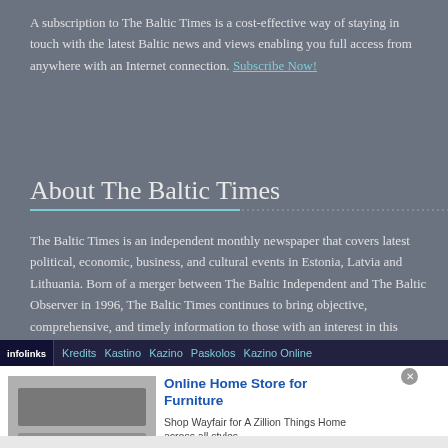A subscription to The Baltic Times is a cost-effective way of staying in touch with the latest Baltic news and views enabling you full access from anywhere with an Internet connection. Subscribe Now!
About The Baltic Times
The Baltic Times is an independent monthly newspaper that covers latest political, economic, business, and cultural events in Estonia, Latvia and Lithuania. Born of a merger between The Baltic Independent and The Baltic Observer in 1996, The Baltic Times continues to bring objective, comprehensive, and timely information to those with an interest in this rapidly developing area of the Baltic Sea region. Read more...
[Figure (screenshot): Infolinks ad bar with links: Kredits, Kastino, Kazino, Paskolos, Kazino Online]
[Figure (screenshot): Advertisement banner for Wayfair Online Home Store for Furniture showing appliance images, headline, and a blue arrow button]